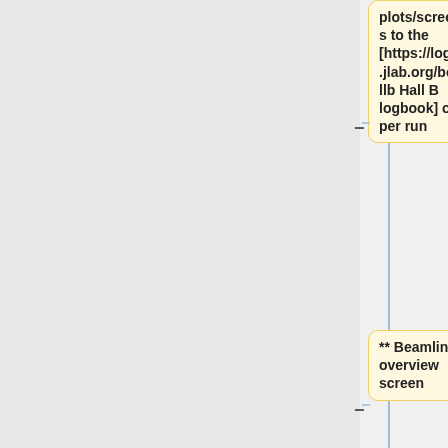plots/screenshots to the [https://logbooks.jlab.org/book/hallb Hall B logbook] once per run
** Beamline overview screen
** Trigger rate screen
* WITH BEAM, log screen shots of
** mon12 Detector occupancy plots
** Beamline Overview, in VNC or [https://hallbopi.jlab.org/webopi3.3/w?opi=beamline/clas12-web.opi